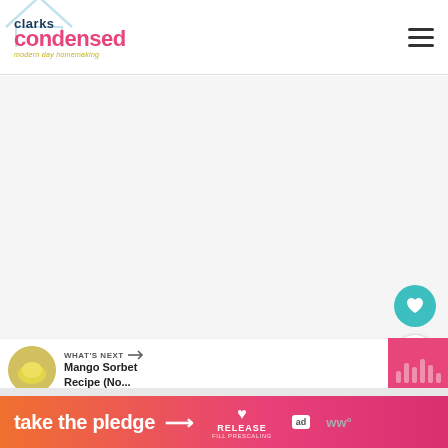clarks condensed — modern day homemaking
[Figure (screenshot): Large main content image area, light gray placeholder]
[Figure (infographic): Floating heart (favorite) button, teal circle with white heart icon]
[Figure (infographic): Floating share button, white circle with share/add icon]
WHAT'S NEXT → Mango Sorbet Recipe (No...
[Figure (infographic): Pink panel with decorative bars on right side]
[Figure (infographic): take the pledge → RELEASE banner ad with heart logo and ad badge]